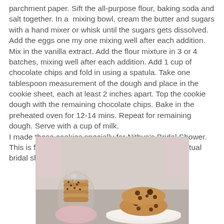parchment paper. Sift the all-purpose flour, baking soda and salt together. In a mixing bowl, cream the butter and sugars with a hand mixer or whisk until the sugars gets dissolved. Add the eggs one my one mixing well after each addition. Mix in the vanilla extract. Add the flour mixture in 3 or 4 batches, mixing well after each addition. Add 1 cup of chocolate chips and fold in using a spatula. Take one tablespoon measurement of the dough and place in the cookie sheet, each at least 2 inches apart. Top the cookie dough with the remaining chocolate chips. Bake in the preheated oven for 12-14 mins. Repeat for remaining dough. Serve with a cup of milk.
I made these cookies specially for Nithya's Bridal Shower. This is for you Nithya and for all those visiting this virtual bridal shower!!
[Figure (photo): Photo of chocolate chip cookies — a stack of cookies wrapped in clear plastic bag tied with a ribbon on the left, and two chocolate chip cookies stacked on a white plate on the right, with a pink background.]